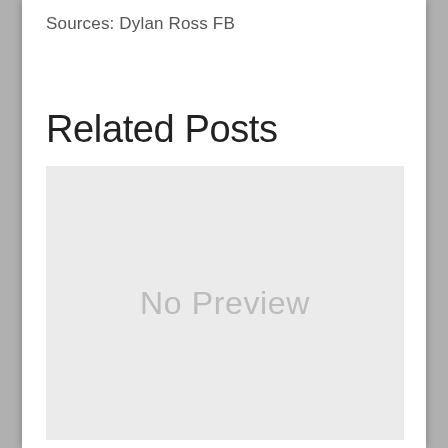Sources: Dylan Ross FB
Related Posts
[Figure (other): A gray placeholder box with the text 'No Preview' in light gray.]